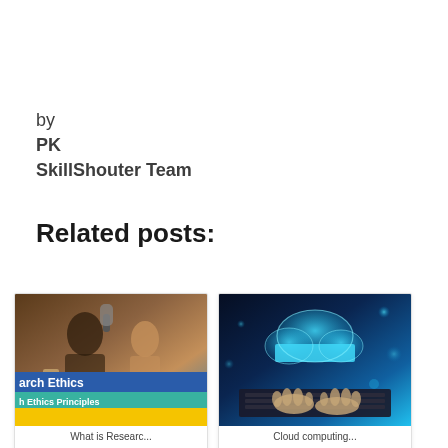by
PK
SkillShouter Team
Related posts:
[Figure (photo): Research Ethics blog post thumbnail showing people in a meeting with overlaid text 'arch Ethics' and 'h Ethics Principles' with a yellow footer bar]
[Figure (photo): Cloud computing thumbnail showing a glowing blue cloud icon over hands typing on a laptop keyboard]